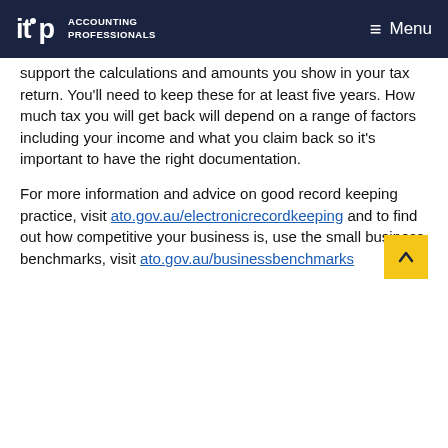itp ACCOUNTING PROFESSIONALS  ≡ Menu
support the calculations and amounts you show in your tax return. You'll need to keep these for at least five years. How much tax you will get back will depend on a range of factors including your income and what you claim back so it's important to have the right documentation.
For more information and advice on good record keeping practice, visit ato.gov.au/electronicrecordkeeping and to find out how competitive your business is, use the small business benchmarks, visit ato.gov.au/businessbenchmarks